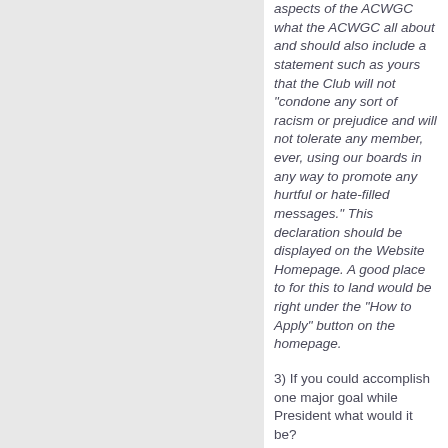aspects of the ACWGC what the ACWGC all about and should also include a statement such as yours that the Club will not "condone any sort of racism or prejudice and will not tolerate any member, ever, using our boards in any way to promote any hurtful or hate-filled messages." This declaration should be displayed on the Website Homepage. A good place to for this to land would be right under the “How to Apply” button on the homepage.
3) If you could accomplish one major goal while President what would it be?